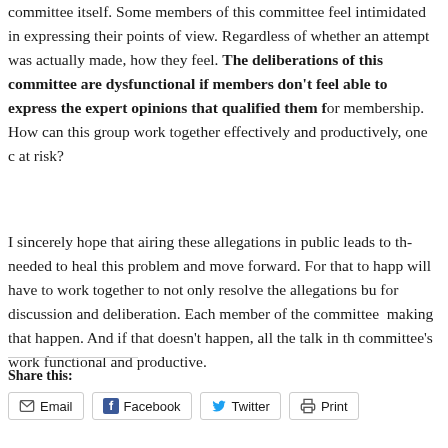committee itself. Some members of this committee feel intimidated... their points of view. Regardless of whether an attempt was actually made, how they feel. The deliberations of this committee are dysfunctional if members don't feel able to express the expert opinions that qualified them for membership. How can this group work together effectively and productively, one concern is the mission at risk?
I sincerely hope that airing these allegations in public leads to the discussion needed to heal this problem and move forward. For that to happen, the committee will have to work together to not only resolve the allegations but also create a space for discussion and deliberation. Each member of the committee has a responsibility in making that happen. And if that doesn't happen, all the talk in the world won't make the committee's work functional and productive.
Share this:
Email  Facebook  Twitter  Print